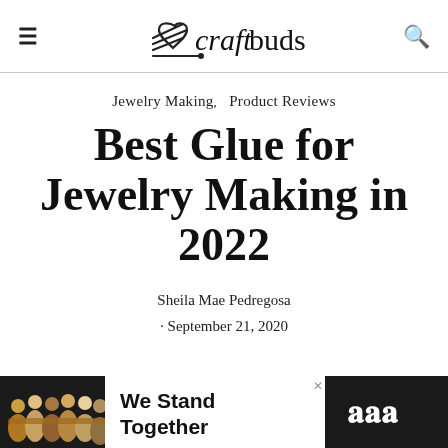craftbuds
Jewelry Making,  Product Reviews
Best Glue for Jewelry Making in 2022
Sheila Mae Pedregosa · September 21, 2020
[Figure (photo): Advertisement banner showing a group of people with arms around each other, text reads 'We Stand Together']